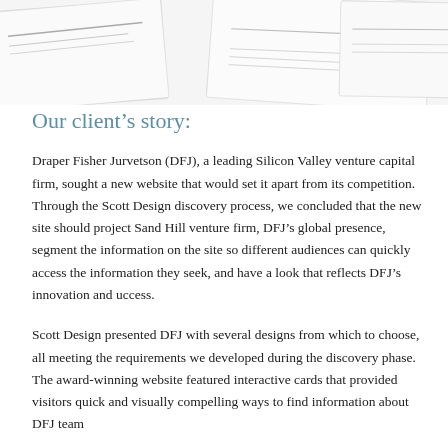[Figure (screenshot): Partial view of overlapping website screenshots/mockups showing document pages with text, positioned at the top of the page.]
Our client’s story:
Draper Fisher Jurvetson (DFJ), a leading Silicon Valley venture capital firm, sought a new website that would set it apart from its competition. Through the Scott Design discovery process, we concluded that the new site should project Sand Hill venture firm, DFJ’s global presence, segment the information on the site so different audiences can quickly access the information they seek, and have a look that reflects DFJ’s innovation and uccess.
Scott Design presented DFJ with several designs from which to choose, all meeting the requirements we developed during the discovery phase. The award-winning website featured interactive cards that provided visitors quick and visually compelling ways to find information about DFJ team